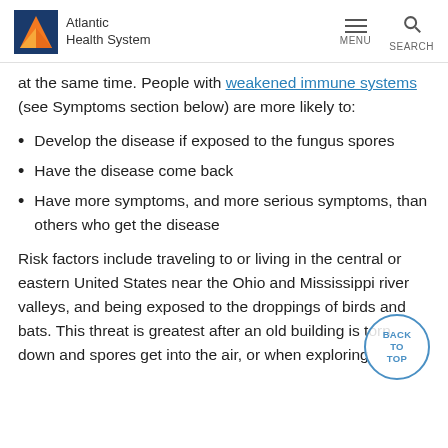Atlantic Health System
at the same time. People with weakened immune systems (see Symptoms section below) are more likely to:
Develop the disease if exposed to the fungus spores
Have the disease come back
Have more symptoms, and more serious symptoms, than others who get the disease
Risk factors include traveling to or living in the central or eastern United States near the Ohio and Mississippi river valleys, and being exposed to the droppings of birds and bats. This threat is greatest after an old building is torn down and spores get into the air, or when exploring